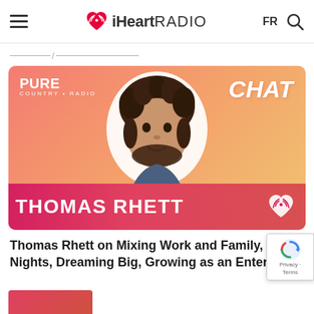iHeartRADIO  FR
[Figure (screenshot): iHeartRadio Pure Country Radio chat thumbnail featuring Thomas Rhett. Orange-pink gradient background. 'PURE COUNTRY RADIO' label top left, 'CHAT' label top right in white italic text. Photo of Thomas Rhett (man with dark curly hair and beard) centered. Pink banner at bottom reads 'THOMAS RHETT' in large white bold uppercase text with iHeart logo on the right.]
Thomas Rhett on Mixing Work and Family, Date Nights, Dreaming Big, Growing as an Entertainer